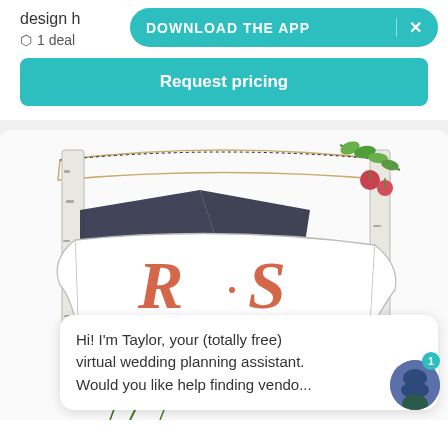design h
DOWNLOAD THE APP  ×
1 deal
Request pricing
[Figure (illustration): RSVP wedding invitation illustration with decorative banner ribbons showing letters R, S, and partially D in salmon/coral color, birch trees, and pomegranate branch with greenery]
Hi! I'm Taylor, your (totally free) virtual wedding planning assistant. Would you like help finding vendo...
Caption/partial text at bottom (cut off)